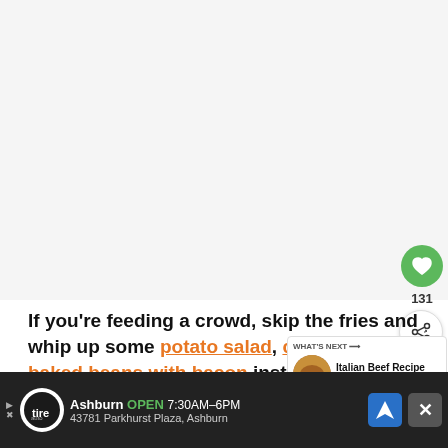[Figure (photo): Large food/recipe photo area (mostly white/light gray placeholder)]
If you're feeding a crowd, skip the fries and whip up some potato salad, crockpot baked beans with bacon instead.
[Figure (photo): WHAT'S NEXT thumbnail: Italian Beef Recipe (Cro...)]
[Figure (screenshot): Advertisement bar: Ashburn OPEN 7:30AM-6PM, 43781 Parkhurst Plaza, Ashburn]